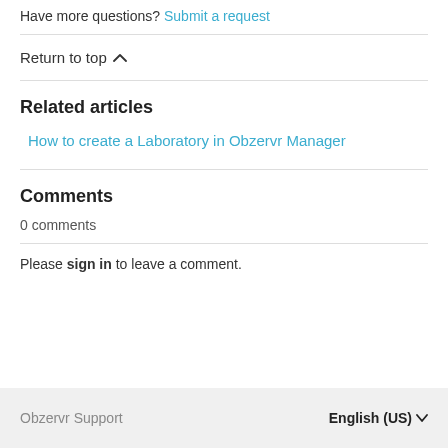Have more questions? Submit a request
Return to top
Related articles
How to create a Laboratory in Obzervr Manager
Comments
0 comments
Please sign in to leave a comment.
Obzervr Support   English (US)